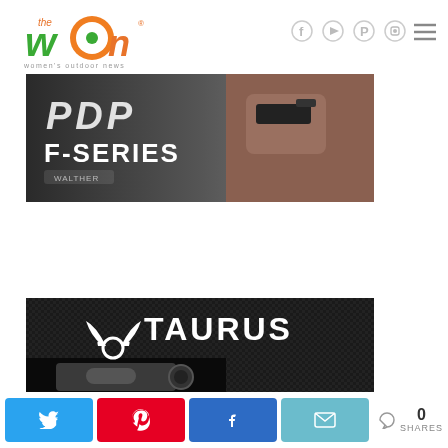[Figure (logo): The WON (Women's Outdoor News) logo with orange circle and social media icons (Facebook, YouTube, Pinterest, Instagram) and hamburger menu]
[Figure (photo): Walther PDP F-Series advertisement banner showing a woman aiming a handgun with text 'PDP F-SERIES']
[Figure (photo): Taurus brand advertisement banner showing Taurus logo (bull horns) and TAURUS text on dark carbon fiber background with gun barrel]
[Figure (infographic): Social share bar with Twitter, Pinterest, Facebook, and Email share buttons, plus a share count showing 0 SHARES]